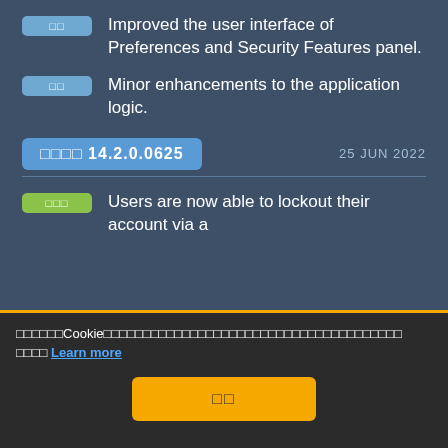□□  Improved the user interface of Preferences and Security Features panel.
□□  Minor enhancements to the application logic.
□□□□ 14.2.0.0625   25 JUN 2022
□□□  Users are now able to lockout their account via a
□□□□□□Cookie□□□□□□□□□□□□□□□□□□□□□□□□□□□□□□□□□□□□□□ □□□□ Learn more
□□